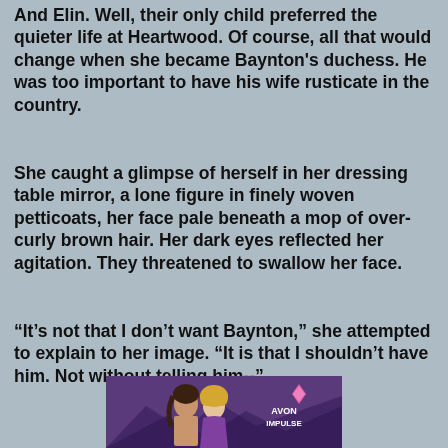And Elin. Well, their only child preferred the quieter life at Heartwood. Of course, all that would change when she became Baynton's duchess. He was too important to have his wife rusticate in the country.
She caught a glimpse of herself in her dressing table mirror, a lone figure in finely woven petticoats, her face pale beneath a mop of over-curly brown hair. Her dark eyes reflected her agitation. They threatened to swallow her face.
“It’s not that I don’t want Baynton,” she attempted to explain to her image. “It is that I shouldn’t have him. Not without telling him--”
[Figure (illustration): Book cover image showing a romantic couple facing each other closely, man with long dark hair shirtless, woman with curly blonde hair in purple dress, purple/mountain background. Avon Impulse logo with pink diamond shape in upper right.]